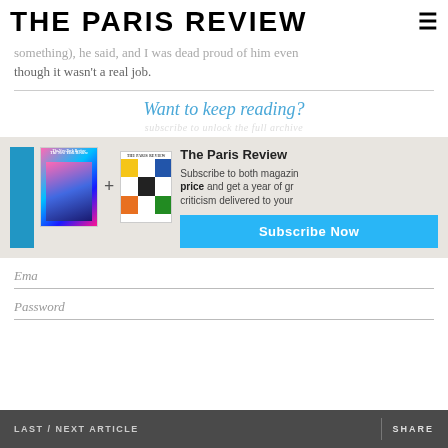THE PARIS REVIEW
something), he said, and I was dead proud of him even though it wasn't a real job.
Want to keep reading?
[Figure (illustration): Subscription promotion box showing two magazine covers (The New York Review and The Paris Review) with a plus sign between them, alongside text 'The Paris Review — Subscribe to both magazines at a special price and get a year of great fiction, poetry, and criticism delivered to your door.' and a blue 'Subscribe Now' button.]
Email
Password
LAST / NEXT ARTICLE   SHARE